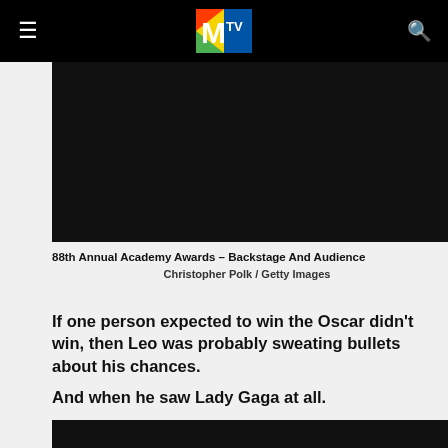MTV logo navigation bar
[Figure (photo): Dark/black image area at top, part of 88th Annual Academy Awards Backstage and Audience photo]
88th Annual Academy Awards – Backstage And Audience
Christopher Polk / Getty Images
If one person expected to win the Oscar didn't win, then Leo was probably sweating bullets about his chances.
And when he saw Lady Gaga at all.
[Figure (photo): Dark/black image at bottom of page, partially visible]